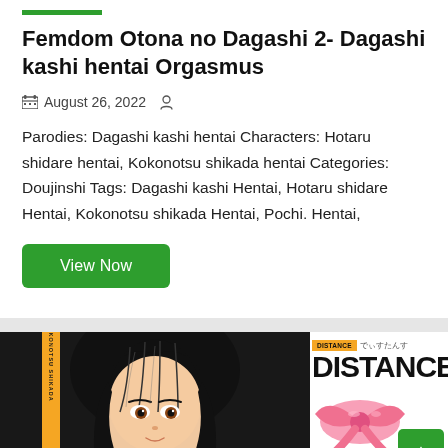Femdom Otona no Dagashi 2- Dagashi kashi hentai Orgasmus
August 26, 2022
Parodies: Dagashi kashi hentai Characters: Hotaru shidare hentai, Kokonotsu shikada hentai Categories: Doujinshi Tags: Dagashi kashi Hentai, Hotaru shidare Hentai, Kokonotsu shikada Hentai, Pochi. Hentai,
View Now
[Figure (illustration): Manga/anime style cover art showing a character with black hair on the left half, and on the right a 'DISTANCE' manga cover with Japanese text and a pink ribbon/bow illustration, plus a green scroll-to-top button.]